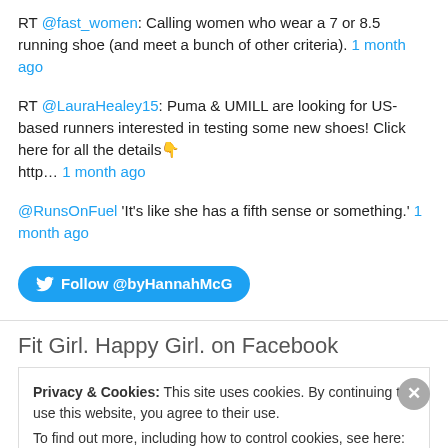RT @fast_women: Calling women who wear a 7 or 8.5 running shoe (and meet a bunch of other criteria). 1 month ago
RT @LauraHealey15: Puma & UMILL are looking for US-based runners interested in testing some new shoes! Click here for all the details 👇 http… 1 month ago
@RunsOnFuel 'It's like she has a fifth sense or something.' 1 month ago
Follow @byHannahMcG
Fit Girl. Happy Girl. on Facebook
Privacy & Cookies: This site uses cookies. By continuing to use this website, you agree to their use. To find out more, including how to control cookies, see here: Cookie Policy
Close and accept